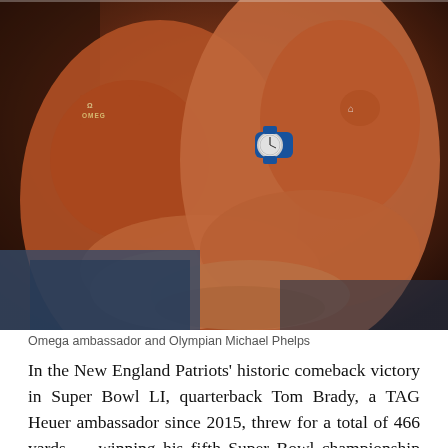[Figure (photo): Two men in orange/red shirts close together, one wearing an Omega watch on his wrist (blue strap), and the other wearing an Under Armour shirt. One man has his arm crossed. The Omega logo is visible on the shirt.]
Omega ambassador and Olympian Michael Phelps
In the New England Patriots' historic comeback victory in Super Bowl LI, quarterback Tom Brady, a TAG Heuer ambassador since 2015, threw for a total of 466 yards — winning his fifth Super Bowl championship ring and inspiring this 466-piece limited-edition timepiece, the TAG Heuer Carrera Heuer 01 Tom Brady Special Edition